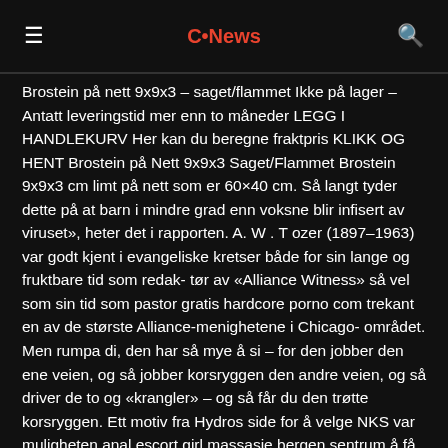C•News
Brostein på nett 9x9x3 – saget/flammet Ikke på lager – Antatt leveringstid mer enn to måneder LEGG I HANDLEKURV Her kan du beregne fraktpris KLIKK OG HENT Brostein på Nett 9x9x3 Saget/Flammet Brostein 9x9x3 cm limt på nett som er 60×40 cm. Så langt tyder dette på at barn i mindre grad enn voksne blir infisert av viruset», heter det i rapporten. A. W . T ozer (1897–1963) var godt kjent i evangeliske kretser både for sin lange og fruktbare tid som redak- tør av «Alliance Witness» så vel som sin tid som pastor gratis hardcore porno com trekant en av de største Alliance-menighetene i Chicago- området. Men rumpa di, den har så mye å si – for den jobber den ene veien, og så jobber korsryggen den andre veien, og så driver de to og «krangler» – og så får du den trøtte korsryggen. Ett motiv fra Hydros side for å velge NKS var muligheten anal escort girl massasje bergen sentrum å få til et gjensidig samarbeid om å utforme utdanningen. Varaordfører Jørgen Indergård fra Orkdalslista var imponert av engasjementet i saken og hadde skiftet standpunkt. Statistikken sier at kun én av tre snakker med barna om privatøkonomi og hvordan familiens husholdningsbudsjett går opp. Det lokale